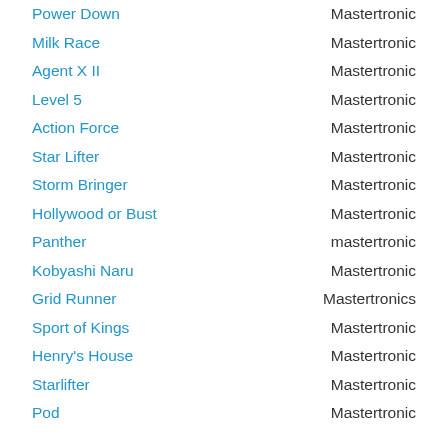Power Down — Mastertronic
Milk Race — Mastertronic
Agent X II — Mastertronic
Level 5 — Mastertronic
Action Force — Mastertronic
Star Lifter — Mastertronic
Storm Bringer — Mastertronic
Hollywood or Bust — Mastertronic
Panther — mastertronic
Kobyashi Naru — Mastertronic
Grid Runner — Mastertronics
Sport of Kings — Mastertronic
Henry's House — Mastertronic
Starlifter — Mastertronic
Pod — Mastertronic